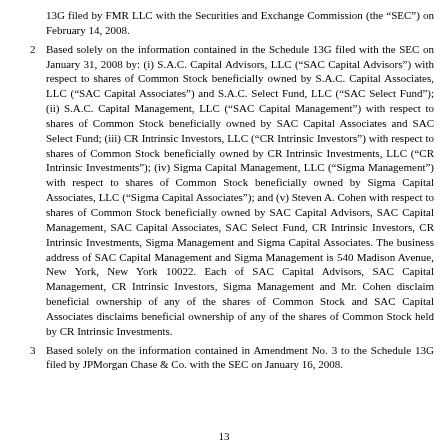13G filed by FMR LLC with the Securities and Exchange Commission (the “SEC”) on February 14, 2008.
2 Based solely on the information contained in the Schedule 13G filed with the SEC on January 31, 2008 by: (i) S.A.C. Capital Advisors, LLC (“SAC Capital Advisors”) with respect to shares of Common Stock beneficially owned by S.A.C. Capital Associates, LLC (“SAC Capital Associates”) and S.A.C. Select Fund, LLC (“SAC Select Fund”); (ii) S.A.C. Capital Management, LLC (“SAC Capital Management”) with respect to shares of Common Stock beneficially owned by SAC Capital Associates and SAC Select Fund; (iii) CR Intrinsic Investors, LLC (“CR Intrinsic Investors”) with respect to shares of Common Stock beneficially owned by CR Intrinsic Investments, LLC (“CR Intrinsic Investments”); (iv) Sigma Capital Management, LLC (“Sigma Management”) with respect to shares of Common Stock beneficially owned by Sigma Capital Associates, LLC (“Sigma Capital Associates”); and (v) Steven A. Cohen with respect to shares of Common Stock beneficially owned by SAC Capital Advisors, SAC Capital Management, SAC Capital Associates, SAC Select Fund, CR Intrinsic Investors, CR Intrinsic Investments, Sigma Management and Sigma Capital Associates. The business address of SAC Capital Management and Sigma Management is 540 Madison Avenue, New York, New York 10022. Each of SAC Capital Advisors, SAC Capital Management, CR Intrinsic Investors, Sigma Management and Mr. Cohen disclaim beneficial ownership of any of the shares of Common Stock and SAC Capital Associates disclaims beneficial ownership of any of the shares of Common Stock held by CR Intrinsic Investments.
3 Based solely on the information contained in Amendment No. 3 to the Schedule 13G filed by JPMorgan Chase & Co. with the SEC on January 16, 2008.
13